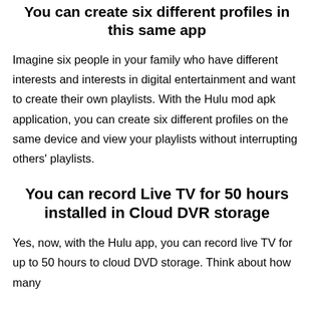You can create six different profiles in this same app
Imagine six people in your family who have different interests and interests in digital entertainment and want to create their own playlists. With the Hulu mod apk application, you can create six different profiles on the same device and view your playlists without interrupting others' playlists.
You can record Live TV for 50 hours installed in Cloud DVR storage
Yes, now, with the Hulu app, you can record live TV for up to 50 hours to cloud DVD storage. Think about how many